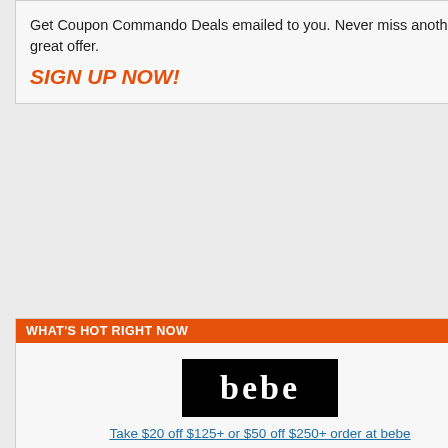Get Coupon Commando Deals emailed to you. Never miss another great offer.
SIGN UP NOW!
WHAT'S HOT RIGHT NOW
[Figure (logo): bebe logo - white text on black background]
Take $20 off $125+ or $50 off $250+ order at bebe
USE COUPON
View All: bebe.com
Offer Expires: December 2nd, 2012
[Figure (logo): maurices logo in light blue border box]
Promotional
Expires: No
[Figure (logo): maurices logo in light blue border box]
Silver Jean
Promotional
Expires: No
[Figure (logo): maurices logo in light blue border box]
Buy 1 Get
Promotional
Expires: No
[Figure (logo): maurices logo in light blue border box]
Get Free S... maurices
Promotional
Expires: No
[Figure (logo): maurices logo in light blue border box]
Take 40%
Promotional
Expires: De
[Figure (illustration): Twitter bird mascot in blue, with Follow Me On Twitter speech bubble]